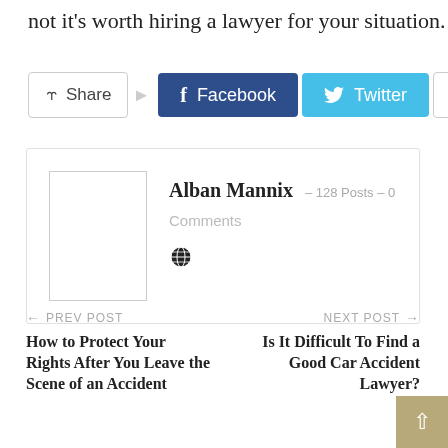not it's worth hiring a lawyer for your situation.
[Figure (infographic): Social share buttons: Share, Facebook, Twitter, and a plus button]
[Figure (infographic): Author box with avatar placeholder, name 'Alban Mannix', 128 Posts, 0 Comments, and a globe icon]
← PREV POST
How to Protect Your Rights After You Leave the Scene of an Accident
NEXT POST →
Is It Difficult To Find a Good Car Accident Lawyer?